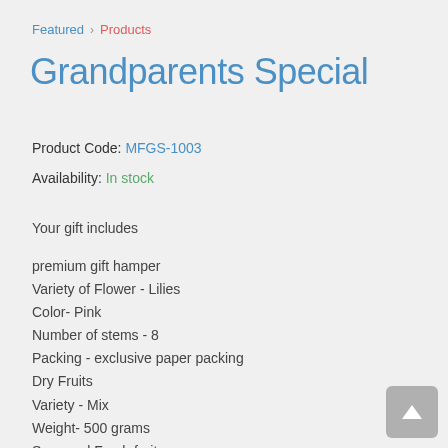Featured > Products
Grandparents Special
Product Code: MFGS-1003
Availability: In stock
Your gift includes
premium gift hamper
Variety of Flower - Lilies
Color- Pink
Number of stems - 8
Packing - exclusive paper packing
Dry Fruits
Variety - Mix
Weight- 500 grams
Seasonal Fresh fruit
Weight - 3 Kg
decorated in a basket